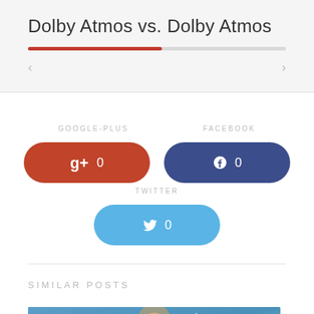Dolby Atmos vs. Dolby Atmos
[Figure (infographic): Social share buttons: Google Plus (0 shares), Facebook (0 shares), Twitter (0 shares)]
SIMILAR POSTS
[Figure (photo): Photo of a woman with holiday winter background]